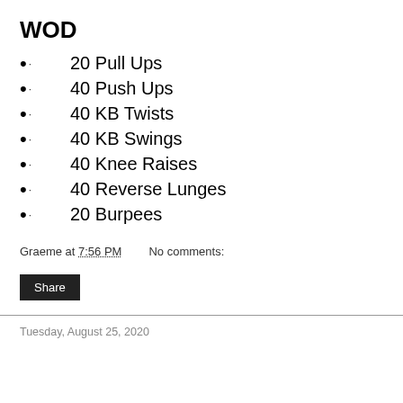WOD
20 Pull Ups
40 Push Ups
40 KB Twists
40 KB Swings
40 Knee Raises
40 Reverse Lunges
20 Burpees
Graeme at 7:56 PM    No comments:
Share
Tuesday, August 25, 2020